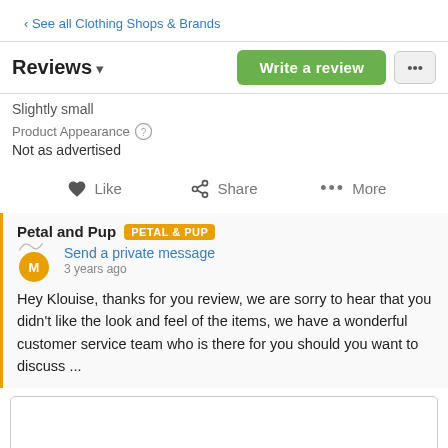‹ See all Clothing Shops & Brands
Reviews ▾
Slightly small
Product Appearance
Not as advertised
❤ Like
Share
••• More
Petal and Pup PETAL & PUP
Send a private message
3 years ago
Hey Klouise, thanks for you review, we are sorry to hear that you didn't like the look and feel of the items, we have a wonderful customer service team who is there for you should you want to discuss ...